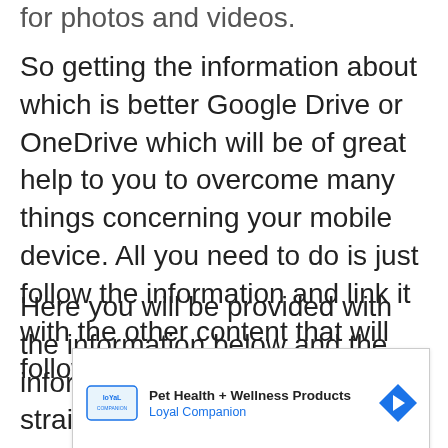for photos and videos.
So getting the information about which is better Google Drive or OneDrive which will be of great help to you to overcome many things concerning your mobile device. All you need to do is just follow the information and link it with the other content that will follow.
Here you will be provided with the information below and the information will be stated and straightforward so
[Figure (other): Advertisement banner for Loyal Companion Pet Health + Wellness Products with logo and arrow icon]